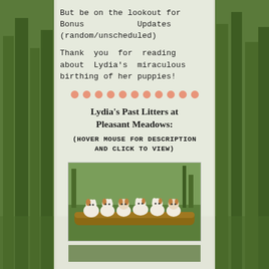But be on the lookout for Bonus Updates (random/unscheduled)
Thank you for reading about Lydia's miraculous birthing of her puppies!
[Figure (infographic): Row of pink/salmon colored dots as a decorative divider]
Lydia's Past Litters at Pleasant Meadows:
(HOVER MOUSE FOR DESCRIPTION AND CLICK TO VIEW)
[Figure (photo): A row of small white and brown puppies sitting on a log in a grassy outdoor setting]